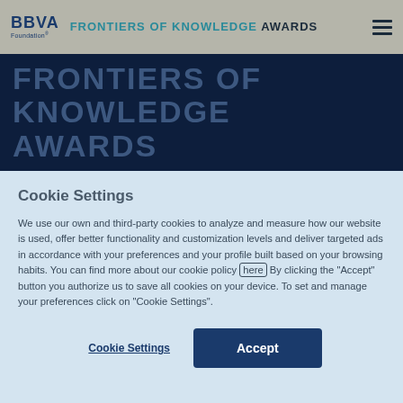BBVA Foundation — FRONTIERS OF KNOWLEDGE AWARDS
FRONTIERS OF KNOWLEDGE AWARDS
Cookie Settings
We use our own and third-party cookies to analyze and measure how our website is used, offer better functionality and customization levels and deliver targeted ads in accordance with your preferences and your profile built based on your browsing habits. You can find more about our cookie policy here By clicking the "Accept" button you authorize us to save all cookies on your device. To set and manage your preferences click on "Cookie Settings".
Cookie Settings | Accept